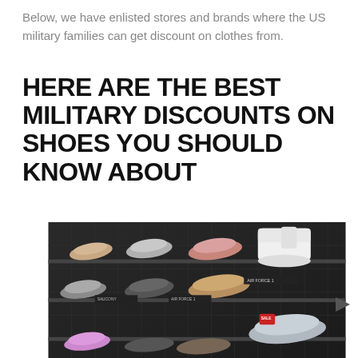Below, we have enlisted stores and brands where the US military families can get discount on clothes from.
HERE ARE THE BEST MILITARY DISCOUNTS ON SHOES YOU SHOULD KNOW ABOUT
[Figure (photo): A shoe store wall display showing multiple rows of sneakers mounted on a dark textured wall with shelving units. Various brands of sneakers including Nike Air Force 1 and other athletic shoes are displayed. A prominent white high-top sneaker is visible on the right side, and a grey sneaker with a red sale tag is shown in the lower right area.]